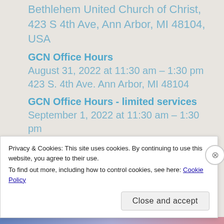Bethlehem United Church of Christ, 423 S 4th Ave, Ann Arbor, MI 48104, USA
GCN Office Hours
August 31, 2022 at 11:30 am – 1:30 pm
423 S. 4th Ave. Ann Arbor, MI 48104
GCN Office Hours - limited services
September 1, 2022 at 11:30 am – 1:30 pm
423 S. 4th Ave., Ann Arbor, Mi. 48104
GCN Office Hours
September 2, 2022 at 11:30 am – 1:30 pm
423 S. 4th Ave. Ann Arbor, MI 48104
Privacy & Cookies: This site uses cookies. By continuing to use this website, you agree to their use.
To find out more, including how to control cookies, see here: Cookie Policy